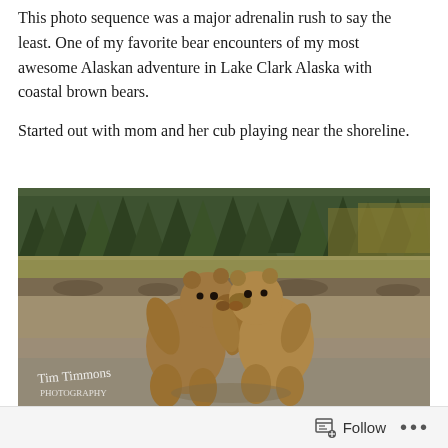This photo sequence was a major adrenalin rush to say the least.  One of my favorite bear encounters of my most awesome Alaskan adventure in Lake Clark Alaska with coastal brown bears.

Started out with mom and her cub playing near the shoreline.
[Figure (photo): Two young brown bear cubs facing each other and playing/wrestling on a sandy shoreline, with tall grass, rocks, and a dense evergreen forest in the background. A photographer's watermark/signature reads 'Tim Timmons Photography' in the lower left corner.]
Follow ···